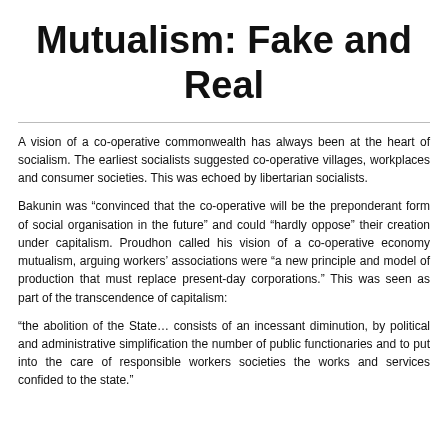Mutualism: Fake and Real
A vision of a co-operative commonwealth has always been at the heart of socialism. The earliest socialists suggested co-operative villages, workplaces and consumer societies. This was echoed by libertarian socialists.
Bakunin was “convinced that the co-operative will be the preponderant form of social organisation in the future” and could “hardly oppose” their creation under capitalism. Proudhon called his vision of a co-operative economy mutualism, arguing workers’ associations were “a new principle and model of production that must replace present-day corporations.” This was seen as part of the transcendence of capitalism:
“the abolition of the State… consists of an incessant diminution, by political and administrative simplification the number of public functionaries and to put into the care of responsible workers societies the works and services confided to the state.”